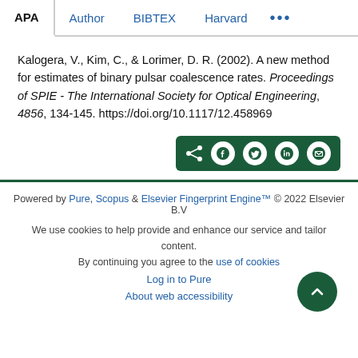APA | Author | BIBTEX | Harvard | ...
Kalogera, V., Kim, C., & Lorimer, D. R. (2002). A new method for estimates of binary pulsar coalescence rates. Proceedings of SPIE - The International Society for Optical Engineering, 4856, 134-145. https://doi.org/10.1117/12.458969
Powered by Pure, Scopus & Elsevier Fingerprint Engine™ © 2022 Elsevier B.V
We use cookies to help provide and enhance our service and tailor content. By continuing you agree to the use of cookies
Log in to Pure
About web accessibility